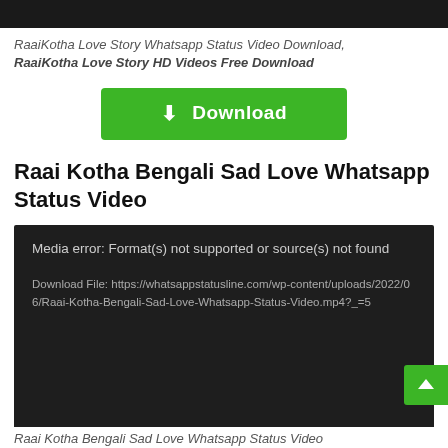[Figure (screenshot): Dark top image bar cropped from a webpage]
RaaiKotha Love Story Whatsapp Status Video Download, RaaiKotha Love Story HD Videos Free Download
[Figure (other): Green Download button with download icon]
Raai Kotha Bengali Sad Love Whatsapp Status Video
[Figure (screenshot): Dark media player area showing: Media error: Format(s) not supported or source(s) not found. Download File: https://whatsappstatusline.com/wp-content/uploads/2022/06/Raai-Kotha-Bengali-Sad-Love-Whatsapp-Status-Video.mp4?_=5]
Raai Kotha Bengali Sad Love Whatsapp Status Video